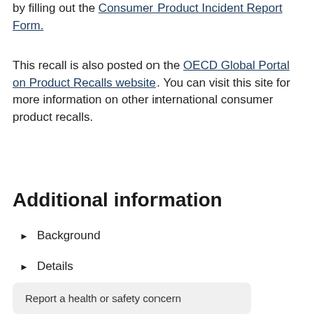by filling out the Consumer Product Incident Report Form.
This recall is also posted on the OECD Global Portal on Product Recalls website. You can visit this site for more information on other international consumer product recalls.
Additional information
Background
Details
Report a health or safety concern